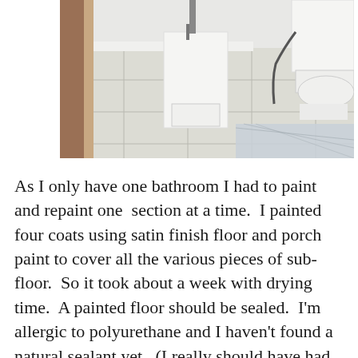[Figure (photo): Bathroom floor photo showing a pedestal sink base and toilet on white/marble patterned floor tiles, with plastic sheeting visible in the lower right corner. Brown door trim visible on the left.]
As I only have one bathroom I had to paint and repaint one  section at a time.  I painted four coats using satin finish floor and porch paint to cover all the various pieces of sub-floor.  So it took about a week with drying time.  A painted floor should be sealed.  I'm allergic to polyurethane and I haven't found a natural sealant yet.  (I really should have had